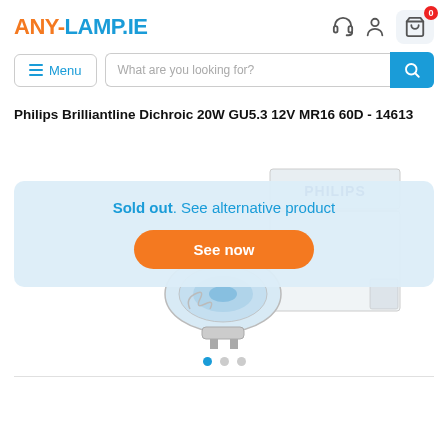ANY-LAMP.IE
Philips Brilliantline Dichroic 20W GU5.3 12V MR16 60D - 14613
[Figure (photo): Product photo of Philips Brilliantline Dichroic lamp with packaging showing PHILIPS logo. A halogen MR16 bulb and product box are visible.]
Sold out. See alternative product
See now